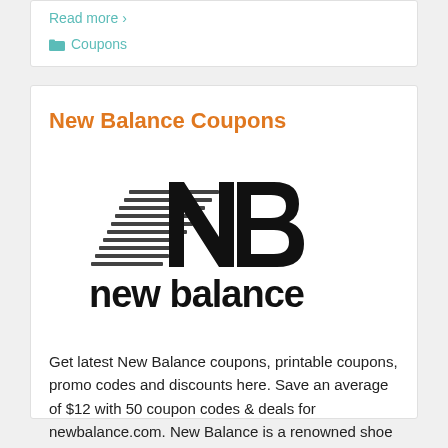Read more ›
Coupons
New Balance Coupons
[Figure (logo): New Balance logo: stylized NB letters with horizontal speed lines, and 'new balance' text in bold below]
Get latest New Balance coupons, printable coupons, promo codes and discounts here. Save an average of $12 with 50 coupon codes & deals for newbalance.com. New Balance is a renowned shoe manufacturer that offers hundred of shoe